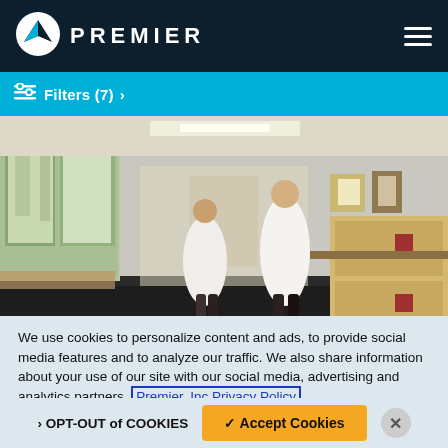PREMIER
Filters (7) >
[Figure (photo): Two medical professionals in white lab coats walking down a hospital corridor with large windows on the left and wood-paneled walls on the right.]
We use cookies to personalize content and ads, to provide social media features and to analyze our traffic. We also share information about your use of our site with our social media, advertising and analytics partners. Premier, Inc Privacy Policy
OPT-OUT of COOKIES
Accept Cookies